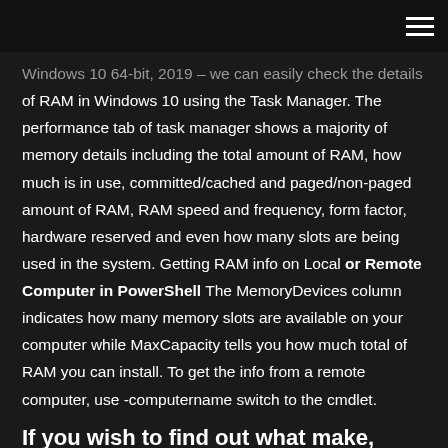[hamburger menu icon]
Windows 10 64-bit, 2019 – we can easily check the details of RAM in Windows 10 using the Task Manager. The performance tab of task manager shows a majority of memory details including the total amount of RAM, how much is in use, committed/cached and paged/non-paged amount of RAM, RAM speed and frequency, form factor, hardware reserved and even how many slots are being used in the system. Getting RAM info on Local or Remote Computer in PowerShell The MemoryDevices column indicates how many memory slots are available on your computer while MaxCapacity tells you how much total of RAM you can install. To get the info from a remote computer, use -computername switch to the cmdlet.
If you wish to find out what make, mode